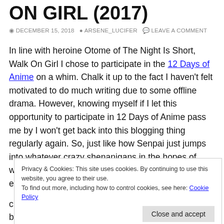ON GIRL (2017)
DECEMBER 15, 2018   ARSENE_LUCIFER   LEAVE A COMMENT
In line with heroine Otome of The Night Is Short, Walk On Girl I chose to participate in the 12 Days of Anime on a whim. Chalk it up to the fact I haven't felt motivated to do much writing due to some offline drama. However, knowing myself if I let this opportunity to participate in 12 Days of Anime pass me by I won't get back into this blogging thing regularly again. So, just like how Senpai just jumps into whatever crazy shenanigans in the hopes of winning Otome heart. I too shall take note of his efforts, and just jump into this 12 Days of
Privacy & Cookies: This site uses cookies. By continuing to use this website, you agree to their use.
To find out more, including how to control cookies, see here: Cookie Policy
chose. Out of everything from it discussion on believing in